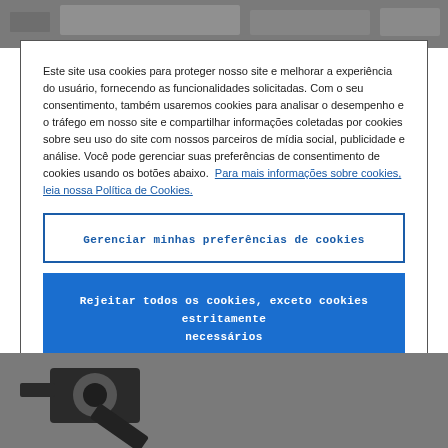[Figure (photo): Gray background visible at top of page — engineering parts photo partially visible]
Este site usa cookies para proteger nosso site e melhorar a experiência do usuário, fornecendo as funcionalidades solicitadas. Com o seu consentimento, também usaremos cookies para analisar o desempenho e o tráfego em nosso site e compartilhar informações coletadas por cookies sobre seu uso do site com nossos parceiros de mídia social, publicidade e análise. Você pode gerenciar suas preferências de consentimento de cookies usando os botões abaixo. Para mais informações sobre cookies, leia nossa Política de Cookies.
Gerenciar minhas preferências de cookies
Rejeitar todos os cookies, exceto cookies estritamente necessários
Aceitar todos os cookies
[Figure (photo): Gray background with dark mechanical/engineering component visible at bottom of page]